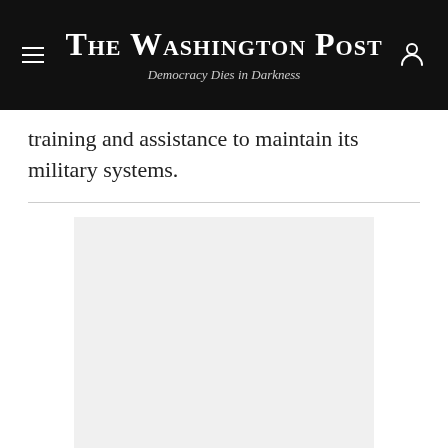The Washington Post
Democracy Dies in Darkness
training and assistance to maintain its military systems.
[Figure (other): Advertisement placeholder block (light gray rectangle)]
The group is scheduled to meet again June 15, on the